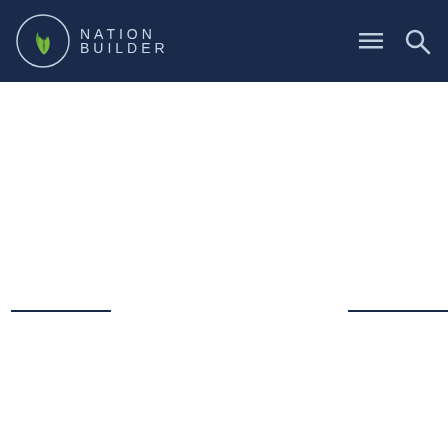NationBuilder
[Figure (logo): NationBuilder logo with circular flame icon and text NATION BUILDER on dark navy navigation bar with hamburger menu and search icons]